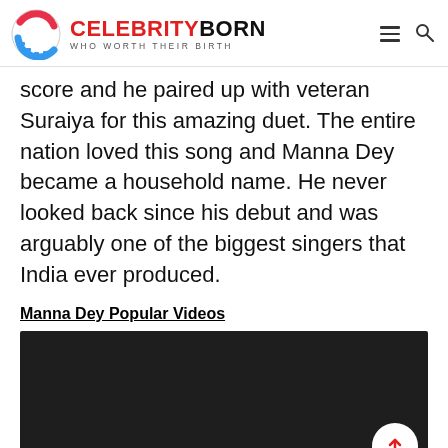CELEBRITYBORN — WHO WORTH THEIR BIRTH
score and he paired up with veteran Suraiya for this amazing duet. The entire nation loved this song and Manna Dey became a household name. He never looked back since his debut and was arguably one of the biggest singers that India ever produced.
Manna Dey Popular Videos
[Figure (screenshot): Embedded dark video player area with scroll-to-top button]